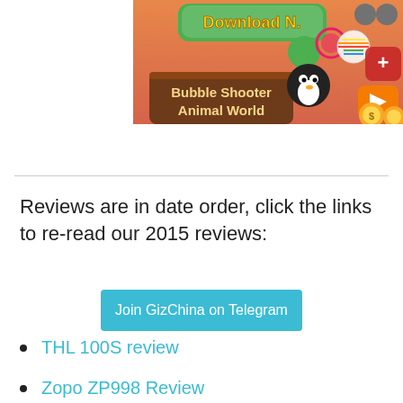[Figure (screenshot): Advertisement banner for 'Bubble Shooter Animal World' mobile game showing a Download Now button, colorful bubbles, a penguin character, and game UI elements on an orange/pink background.]
Reviews are in date order, click the links to re-read our 2015 reviews:
Join GizChina on Telegram
THL 100S review
Zopo ZP998 Review